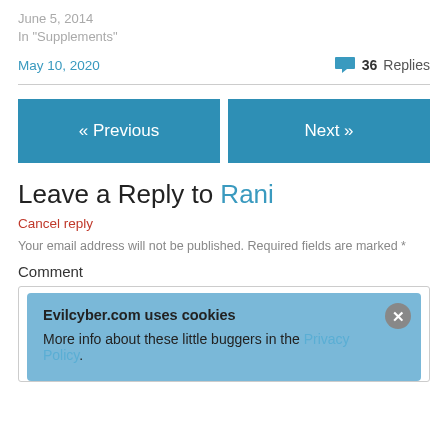June 5, 2014
In "Supplements"
May 10, 2020
36 Replies
« Previous
Next »
Leave a Reply to Rani
Cancel reply
Your email address will not be published. Required fields are marked *
Comment
Evilcyber.com uses cookies
More info about these little buggers in the Privacy Policy.